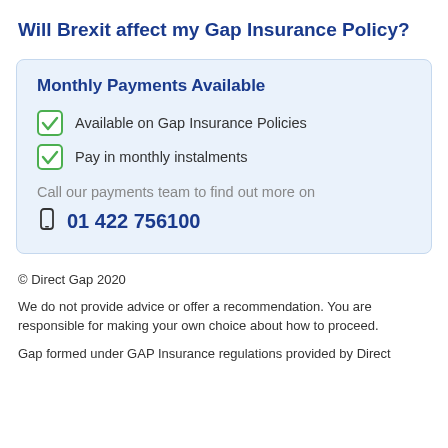Will Brexit affect my Gap Insurance Policy?
Monthly Payments Available
Available on Gap Insurance Policies
Pay in monthly instalments
Call our payments team to find out more on
01 422 756100
© Direct Gap 2020
We do not provide advice or offer a recommendation. You are responsible for making your own choice about how to proceed.
Gap formed under GAP Insurance regulations provided by Direct...